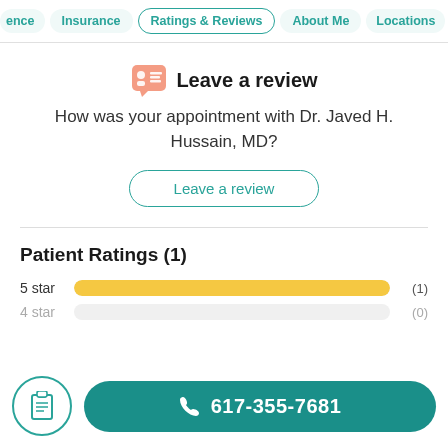ence | Insurance | Ratings & Reviews | About Me | Locations
Leave a review
How was your appointment with Dr. Javed H. Hussain, MD?
Leave a review
Patient Ratings (1)
5 star (1)
4 star (0)
617-355-7681